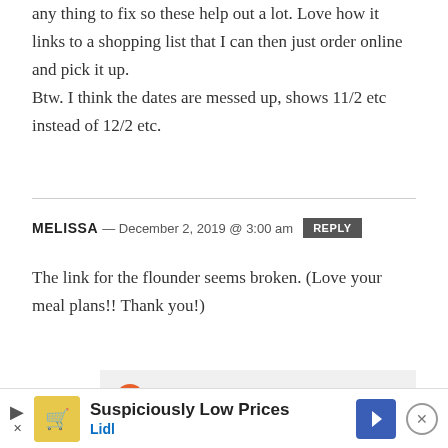any thing to fix so these help out a lot. Love how it links to a shopping list that I can then just order online and pick it up. Btw. I think the dates are messed up, shows 11/2 etc instead of 12/2 etc.
MELISSA — December 2, 2019 @ 3:00 am  REPLY
The link for the flounder seems broken. (Love your meal plans!! Thank you!)
GINA — December 2, 2019 @ 11:54 am  REPLY
[Figure (other): Advertisement banner for Lidl: 'Suspiciously Low Prices' with Lidl logo and navigation arrow icon]